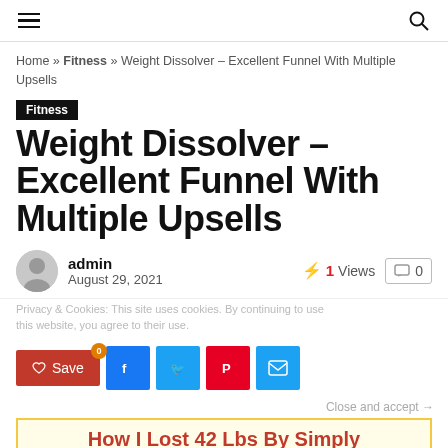≡  🔍
Home » Fitness » Weight Dissolver – Excellent Funnel With Multiple Upsells
Fitness
Weight Dissolver – Excellent Funnel With Multiple Upsells
admin August 29, 2021  ⚡ 1 Views  🗨 0
Privacy & Cookies: This site uses cookies. By continuing to use this website, you agree to their use.
Save  Facebook  Twitter  Pinterest  Email
Close and accept
How I Lost 42 Lbs By Simply